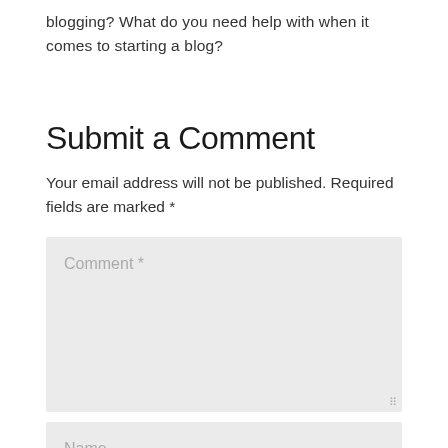blogging? What do you need help with when it comes to starting a blog?
Submit a Comment
Your email address will not be published. Required fields are marked *
[Figure (screenshot): Comment text area input field with placeholder text 'Comment *' on a light grey background]
[Figure (screenshot): Name input field with placeholder text 'Name' on a light grey background, partially visible at bottom]